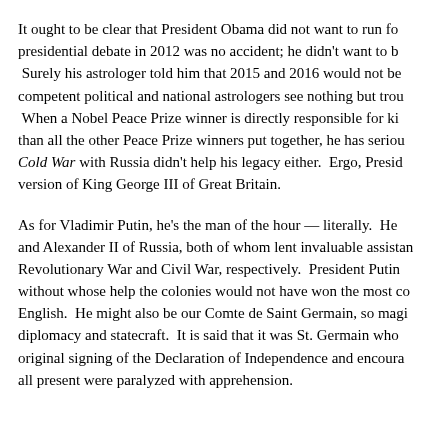It ought to be clear that President Obama did not want to run for presidential debate in 2012 was no accident; he didn't want to b Surely his astrologer told him that 2015 and 2016 would not be competent political and national astrologers see nothing but trou When a Nobel Peace Prize winner is directly responsible for ki than all the other Peace Prize winners put together, he has serio Cold War with Russia didn't help his legacy either. Ergo, Presi version of King George III of Great Britain.
As for Vladimir Putin, he's the man of the hour — literally. He and Alexander II of Russia, both of whom lent invaluable assista Revolutionary War and Civil War, respectively. President Putin without whose help the colonies would not have won the most c English. He might also be our Comte de Saint Germain, so mag diplomacy and statecraft. It is said that it was St. Germain who original signing of the Declaration of Independence and encour all present were paralyzed with apprehension.